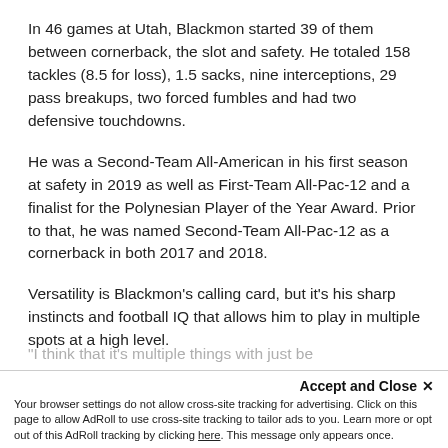In 46 games at Utah, Blackmon started 39 of them between cornerback, the slot and safety. He totaled 158 tackles (8.5 for loss), 1.5 sacks, nine interceptions, 29 pass breakups, two forced fumbles and had two defensive touchdowns.
He was a Second-Team All-American in his first season at safety in 2019 as well as First-Team All-Pac-12 and a finalist for the Polynesian Player of the Year Award. Prior to that, he was named Second-Team All-Pac-12 as a cornerback in both 2017 and 2018.
Versatility is Blackmon's calling card, but it's his sharp instincts and football IQ that allows him to play in multiple spots at a high level.
"I think that it's multiple things with just be...
Accept and Close ×
Your browser settings do not allow cross-site tracking for advertising. Click on this page to allow AdRoll to use cross-site tracking to tailor ads to you. Learn more or opt out of this AdRoll tracking by clicking here. This message only appears once.